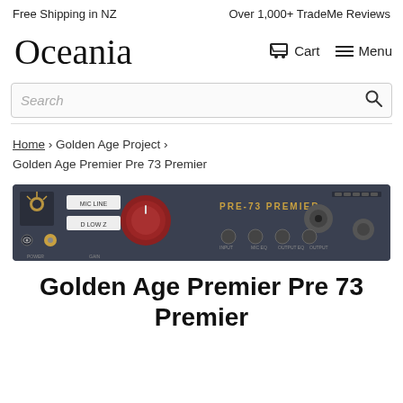Free Shipping in NZ    Over 1,000+ TradeMe Reviews
[Figure (logo): Oceania store logo in cursive script]
Cart   Menu
Search
Home › Golden Age Project › Golden Age Premier Pre 73 Premier
[Figure (photo): Photo of Golden Age Premier Pre 73 Premier audio preamp unit — dark grey rack unit with red gain knob, gold lettering PRE-73 PREMIER, various buttons and controls]
Golden Age Premier Pre 73 Premier